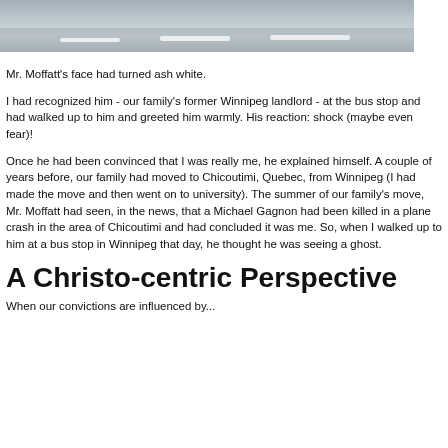[Figure (photo): Partial view of a road with lane markings, gray asphalt, blurred background]
Mr. Moffatt's face had turned ash white.
I had recognized him - our family's former Winnipeg landlord - at the bus stop and had walked up to him and greeted him warmly. His reaction: shock (maybe even fear)!
Once he had been convinced that I was really me, he explained himself. A couple of years before, our family had moved to Chicoutimi, Quebec, from Winnipeg (I had made the move and then went on to university). The summer of our family's move, Mr. Moffatt had seen, in the news, that a Michael Gagnon had been killed in a plane crash in the area of Chicoutimi and had concluded it was me. So, when I walked up to him at a bus stop in Winnipeg that day, he thought he was seeing a ghost.
A Christo-centric Perspective
When our convictions are influenced by...